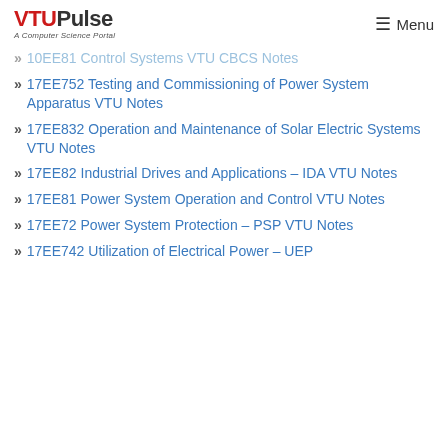VTUPulse - A Computer Science Portal | Menu
10EE81 Control Systems VTU CBCS Notes
17EE752 Testing and Commissioning of Power System Apparatus VTU Notes
17EE832 Operation and Maintenance of Solar Electric Systems VTU Notes
17EE82 Industrial Drives and Applications – IDA VTU Notes
17EE81 Power System Operation and Control VTU Notes
17EE72 Power System Protection – PSP VTU Notes
17EE742 Utilization of Electrical Power – UEP